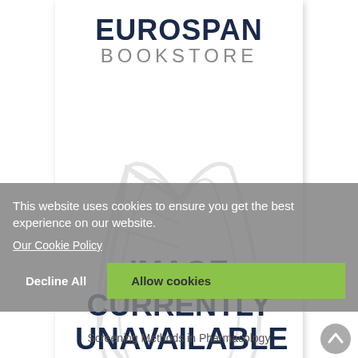[Figure (logo): Eurospan Bookstore logo — EUROSPAN in bold dark navy, BOOKSTORE in light grey spaced lettering below]
[Figure (illustration): Watermark-style open book outline in light grey]
IMAGE CURRENTLY UNAVAILABLE
This website uses cookies to ensure you get the best experience on our website.
Our Cookie Policy
Decline All
Allow cookies
Screening Methods in Pharmacology